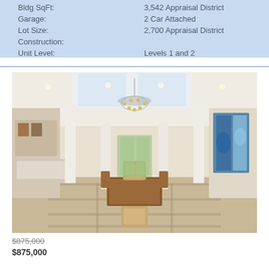Bldg SqFt: 3,542 Appraisal District
Garage: 2 Car Attached
Lot Size: 2,700 Appraisal District
Construction:
Unit Level: Levels 1 and 2
[Figure (photo): Interior photo of a luxury home showing a grand open-plan living and dining area with tall white columns, a large ornate chandelier, marble-patterned tile floor, a dining table with upholstered chairs, and a large abstract blue artwork on the right wall.]
$875,000
$875,000